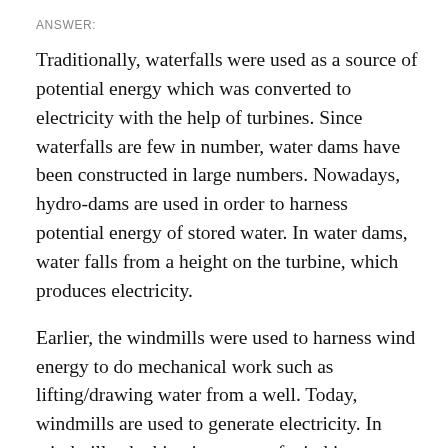ANSWER:
Traditionally, waterfalls were used as a source of potential energy which was converted to electricity with the help of turbines. Since waterfalls are few in number, water dams have been constructed in large numbers. Nowadays, hydro-dams are used in order to harness potential energy of stored water. In water dams, water falls from a height on the turbine, which produces electricity.
Earlier, the windmills were used to harness wind energy to do mechanical work such as lifting/drawing water from a well. Today, windmills are used to generate electricity. In windmills, the kinetic energy of wind is harnessed and converted into electricity. The rotatory motion of the blades turns the turbine of the